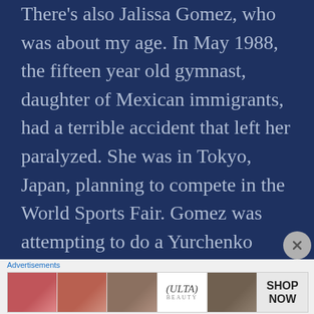There's also Jalissa Gomez, who was about my age. In May 1988, the fifteen year old gymnast, daughter of Mexican immigrants, had a terrible accident that left her paralyzed. She was in Tokyo, Japan, planning to compete in the World Sports Fair. Gomez was attempting to do a Yurchenko vault, but had never gotten completely comfortable with her technique. Sometimes, when she would try to do the difficult maneuver, her feet would miss the springboard. In those days, gymnasts vaulted on a
[Figure (other): Advertisement banner for Ulta Beauty with makeup/cosmetic imagery and SHOP NOW call to action]